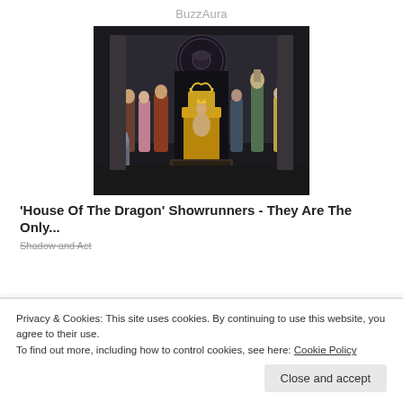BuzzAura
[Figure (photo): Cast of House of the Dragon seated and standing around an ornate golden throne, in a dark medieval throne room with a dragon sigil on the wall.]
'House Of The Dragon' Showrunners - They Are The Only...
Shadow and Act
Privacy & Cookies: This site uses cookies. By continuing to use this website, you agree to their use.
To find out more, including how to control cookies, see here: Cookie Policy
Close and accept